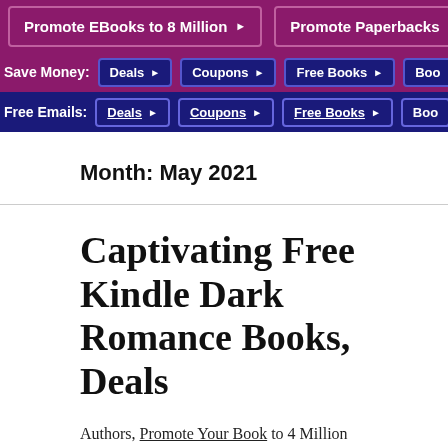Promote EBooks to 8 Million ▶   Promote Paperbacks ▶
Save Money:  Deals ▶  Coupons ▶  Free Books ▶  Boo...
Free Emails:  Deals ▶  Coupons ▶  Free Books ▶  Boo...
Month: May 2021
Captivating Free Kindle Dark Romance Books, Deals
Authors, Promote Your Book to 4 Million Readers. Become A Bestselling Author.
Free Kindle Books – Dark Romance